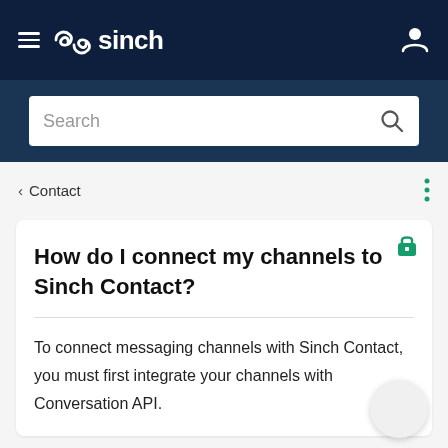≡ sinch [logo]
Search
< Contact
How do I connect my channels to Sinch Contact?
To connect messaging channels with Sinch Contact, you must first integrate your channels with Conversation API.